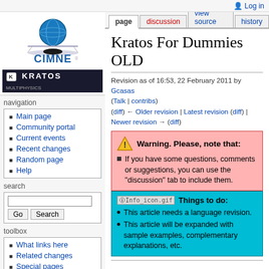Log in
[Figure (logo): CIMNE logo with globe graphic and Kratos Multiphysics banner]
navigation
Main page
Community portal
Current events
Recent changes
Random page
Help
search
toolbox
What links here
Related changes
Special pages
Kratos For Dummies OLD
Revision as of 16:53, 22 February 2011 by Gcasas (Talk | contribs)
(diff) ← Older revision | Latest revision (diff) | Newer revision → (diff)
Warning. Please, note that:
If you have some questions, comments or suggestions, you can use the "discussion" tab to include them.
Info_icon.gif Things to do:
This article needs a language revision.
This article will be expanded with sample examples, complementary explanations, etc.